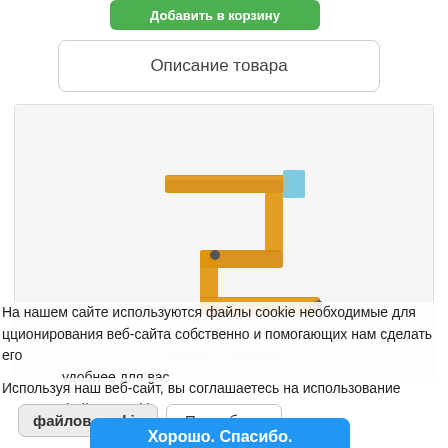[Figure (screenshot): Green 'Добавить в корзину' (Add to cart) button partially visible at top]
Описание товара
[Figure (photo): Flexible flat cable / flex ribbon cable for camera, gold/orange colored, with connector, on light grey background]
На нашем сайте используются файлы cookie необходимые для функционирования веб-сайта собственно и помогающих нам сделать его удобнее для вас.
Используя наш веб-сайт, вы соглашаетесь на использование файлов cookie
Подробнее
Хорошо. Спасибо.